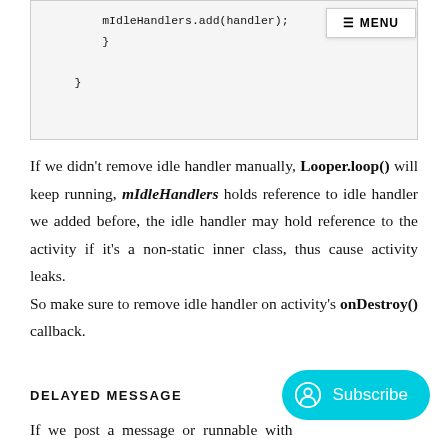[Figure (screenshot): Code snippet showing closing braces of a method, with mIdleHandlers.add(handler); and two closing curly braces on separate indented lines]
If we didn't remove idle handler manually, Looper.loop() will keep running, mIdleHandlers holds reference to idle handler we added before, the idle handler may hold reference to the activity if it's a non-static inner class, thus cause activity leaks. So make sure to remove idle handler on activity's onDestroy() callback.
DELAYED MESSAGE
If we post a message or runnable with